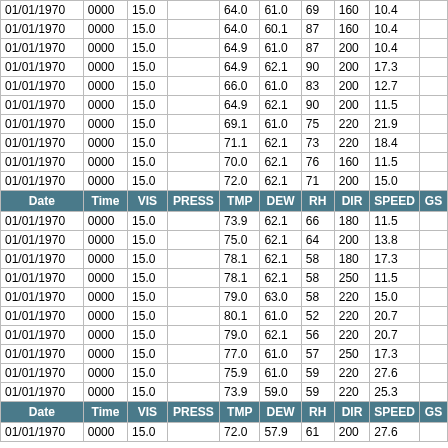| Date | Time | VIS | PRESS | TMP | DEW | RH | DIR | SPEED | GS |
| --- | --- | --- | --- | --- | --- | --- | --- | --- | --- |
| 01/01/1970 | 0000 | 15.0 |  | 64.0 | 61.0 | 69 | 160 | 10.4 |  |
| 01/01/1970 | 0000 | 15.0 |  | 64.0 | 60.1 | 87 | 160 | 10.4 |  |
| 01/01/1970 | 0000 | 15.0 |  | 64.9 | 61.0 | 87 | 200 | 10.4 |  |
| 01/01/1970 | 0000 | 15.0 |  | 64.9 | 62.1 | 90 | 200 | 17.3 |  |
| 01/01/1970 | 0000 | 15.0 |  | 66.0 | 61.0 | 83 | 200 | 12.7 |  |
| 01/01/1970 | 0000 | 15.0 |  | 64.9 | 62.1 | 90 | 200 | 11.5 |  |
| 01/01/1970 | 0000 | 15.0 |  | 69.1 | 61.0 | 75 | 220 | 21.9 |  |
| 01/01/1970 | 0000 | 15.0 |  | 71.1 | 62.1 | 73 | 220 | 18.4 |  |
| 01/01/1970 | 0000 | 15.0 |  | 70.0 | 62.1 | 76 | 160 | 11.5 |  |
| 01/01/1970 | 0000 | 15.0 |  | 72.0 | 62.1 | 71 | 200 | 15.0 |  |
| HEADER |  |  |  |  |  |  |  |  |  |
| 01/01/1970 | 0000 | 15.0 |  | 73.9 | 62.1 | 66 | 180 | 11.5 |  |
| 01/01/1970 | 0000 | 15.0 |  | 75.0 | 62.1 | 64 | 200 | 13.8 |  |
| 01/01/1970 | 0000 | 15.0 |  | 78.1 | 62.1 | 58 | 180 | 17.3 |  |
| 01/01/1970 | 0000 | 15.0 |  | 78.1 | 62.1 | 58 | 250 | 11.5 |  |
| 01/01/1970 | 0000 | 15.0 |  | 79.0 | 63.0 | 58 | 220 | 15.0 |  |
| 01/01/1970 | 0000 | 15.0 |  | 80.1 | 61.0 | 52 | 220 | 20.7 |  |
| 01/01/1970 | 0000 | 15.0 |  | 79.0 | 62.1 | 56 | 220 | 20.7 |  |
| 01/01/1970 | 0000 | 15.0 |  | 77.0 | 61.0 | 57 | 250 | 17.3 |  |
| 01/01/1970 | 0000 | 15.0 |  | 75.9 | 61.0 | 59 | 220 | 27.6 |  |
| 01/01/1970 | 0000 | 15.0 |  | 73.9 | 59.0 | 59 | 220 | 25.3 |  |
| HEADER2 |  |  |  |  |  |  |  |  |  |
| 01/01/1970 | 0000 | 15.0 |  | 72.0 | 57.9 | 61 | 200 | 27.6 |  |